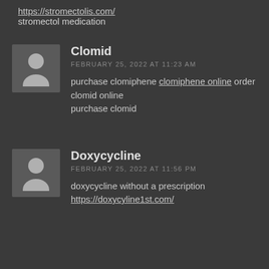https://stromectolis.com/ stromectol medication
Clomid
FEBRUARY 25, 2022 AT 11:23 AM
purchase clomiphene clomiphene online order clomid online
purchase clomid
Doxycycline
FEBRUARY 25, 2022 AT 11:56 PM
doxycycline without a prescription
https://doxycyline1st.com/